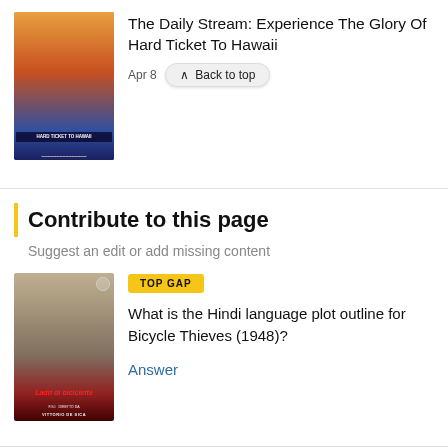[Figure (photo): Movie poster for Hard Ticket to Hawaii]
The Daily Stream: Experience The Glory Of Hard Ticket To Hawaii
Apr 8
Back to top
Contribute to this page
Suggest an edit or add missing content
[Figure (photo): Movie poster for Bicycle Thieves (1948) - Ladri di biciclette, directed by Vittorio De Sica]
TOP GAP
What is the Hindi language plot outline for Bicycle Thieves (1948)?
Answer